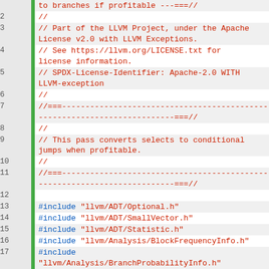Source code listing: LLVM SelectToJump pass file, lines 1-27, showing Apache 2.0 license header and #include directives for LLVM headers.